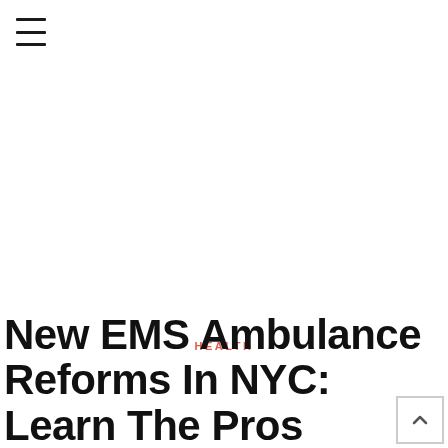≡
HEALTH
New EMS Ambulance Reforms In NYC: Learn The Pros